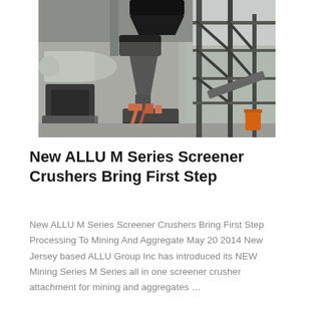[Figure (photo): Industrial mining/aggregate facility interior showing large machinery including a cone crusher, conveyor systems, steel structural framework, pipes, and orange industrial containers on a concrete floor.]
New ALLU M Series Screener Crushers Bring First Step
New ALLU M Series Screener Crushers Bring First Step Processing To Mining And Aggregate May 20 2014 New Jersey based ALLU Group Inc has introduced its NEW Mining Series M Series all in one screener crusher attachment for mining and aggregates …